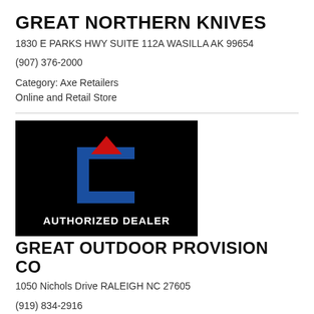GREAT NORTHERN KNIVES
1830 E PARKS HWY SUITE 112A WASILLA AK 99654
(907) 376-2000
Category: Axe Retailers
Online and Retail Store
[Figure (logo): Black background logo with a blue bracket/C shape and red downward triangle above it, with white text 'AUTHORIZED DEALER' at the bottom.]
GREAT OUTDOOR PROVISION CO
1050 Nichols Drive RALEIGH NC 27605
(919) 834-2916